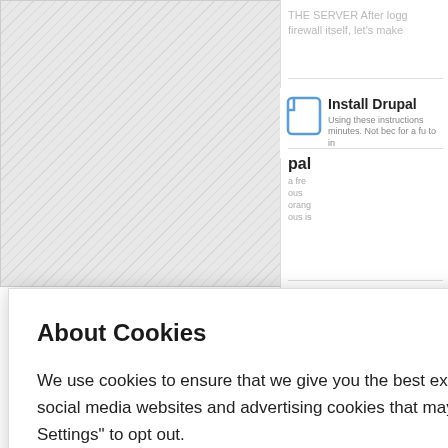[Figure (screenshot): Background webpage showing 'Install Drupal' and other content cards in right column, with hatched gray area in left column]
About Cookies
We use cookies to ensure that we give you the best experience on our website. This includes cookies from third party social media websites and advertising cookies that may analyze your use of this site. Click "Got it" to agree or "Cookie Settings" to opt out.
Cookie Notice
Got It
Cookies Settings